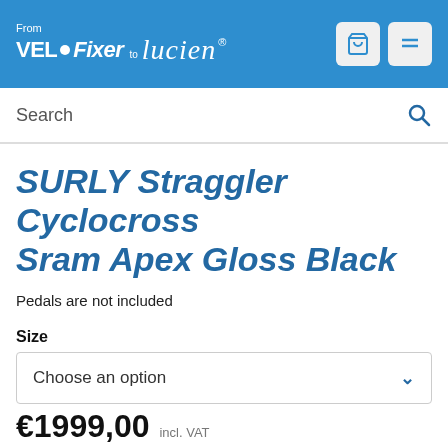[Figure (logo): VeloFixer to Lucien logo on blue header background with cart and menu icons]
Search
SURLY Straggler Cyclocross Sram Apex Gloss Black
Pedals are not included
Size
Choose an option
€1999,00  incl. VAT